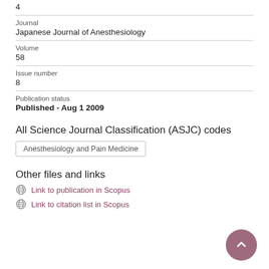4
Journal
Japanese Journal of Anesthesiology
Volume
58
Issue number
8
Publication status
Published - Aug 1 2009
All Science Journal Classification (ASJC) codes
Anesthesiology and Pain Medicine
Other files and links
Link to publication in Scopus
Link to citation list in Scopus